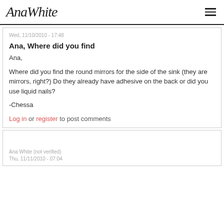AnaWhite
Wed, 11/10/2010 - 17:48
Ana, Where did you find
Ana,

Where did you find the round mirrors for the side of the sink (they are mirrors, right?) Do they already have adhesive on the back or did you use liquid nails?

-Chessa
Log in or register to post comments
Ana White (not verified)
Thu, 11/11/2010 - 07:04